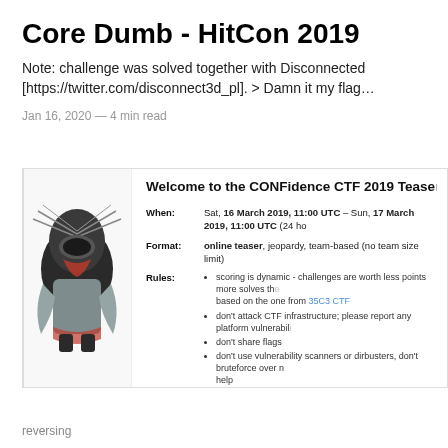Core Dumb - HitCon 2019
Note: challenge was solved together with Disconnected [https://twitter.com/disconnect3d_pl]. > Damn it my flag…
Jan 16, 2020 — 4 min read
[Figure (screenshot): Screenshot of CONFidence CTF 2019 Teaser event page showing event details: When: Sat, 16 March 2019, 11:00 UTC - Sun, 17 March 2019, 11:00 UTC (24 ho..); Format: online teaser, jeopardy, team-based (no team size limit); Rules: bullet points about scoring, CTF infrastructure, flags, vulnerability scanners, IRC channel; Prizes: TOP 1 - TOP 3: each team gets 4 conference passes for CONFidence 2019 conference. Left side shows a logo graphic.]
reversing